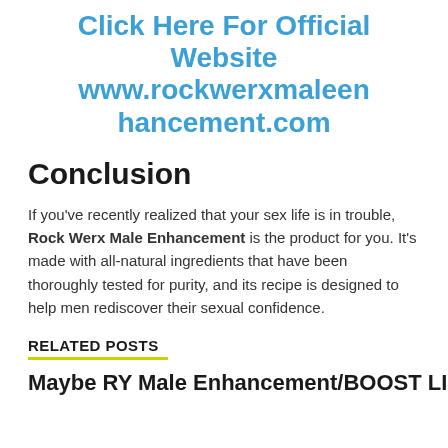Click Here For Official Website www.rockwerxmaleenhancement.com
Conclusion
If you've recently realized that your sex life is in trouble, Rock Werx Male Enhancement is the product for you. It's made with all-natural ingredients that have been thoroughly tested for purity, and its recipe is designed to help men rediscover their sexual confidence.
RELATED POSTS
Maxbe RY Male Enhancement/BOOST LIBIDO &